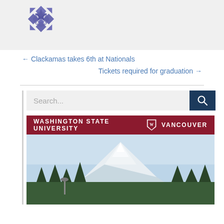[Figure (logo): Blue geometric star/snowflake quilt pattern logo]
← Clackamas takes 6th at Nationals
Tickets required for graduation →
[Figure (screenshot): Search bar with magnifying glass icon and Washington State University Vancouver banner image showing Mount Hood]
Washington State University Vancouver campus banner